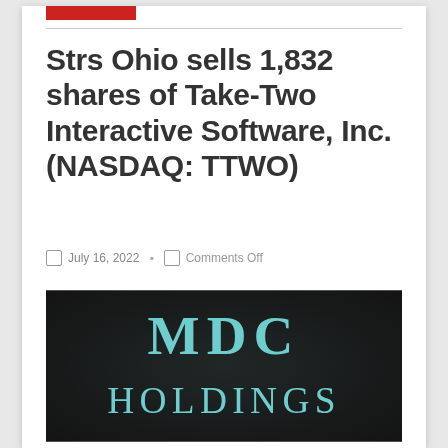Strs Ohio sells 1,832 shares of Take-Two Interactive Software, Inc. (NASDAQ: TTWO)
July 16, 2022   Comments Off
[Figure (photo): Dark background image with teal/cyan text reading 'MDC HOLDINGS' in large letters]